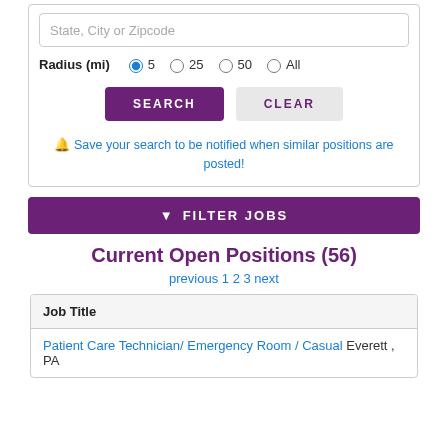State, City or Zipcode
Radius (mi) 5 25 50 All
SEARCH
CLEAR
Save your search to be notified when similar positions are posted!
FILTER JOBS
Current Open Positions (56)
previous 1 2 3 next
| Job Title |
| --- |
| Patient Care Technician/ Emergency Room / Casual Everett , PA |